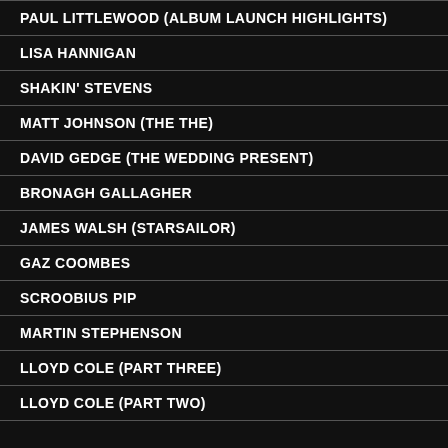PAUL LITTLEWOOD (ALBUM LAUNCH HIGHLIGHTS)
LISA HANNIGAN
SHAKIN' STEVENS
MATT JOHNSON (THE THE)
DAVID GEDGE (THE WEDDING PRESENT)
BRONAGH GALLAGHER
JAMES WALSH (STARSAILOR)
GAZ COOMBES
SCROOBIUS PIP
MARTIN STEPHENSON
LLOYD COLE (PART THREE)
LLOYD COLE (PART TWO)